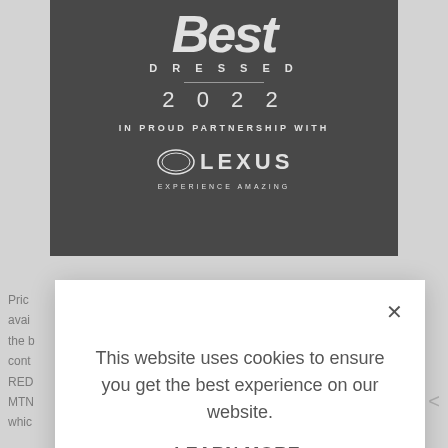[Figure (logo): Best Dressed 2022 in proud partnership with Lexus — white text on black background banner]
Price avail the b cont RED MTN whic
This website uses cookies to ensure you get the best experience on our website.
LEARN MORE.
ACCEPT COOKIES